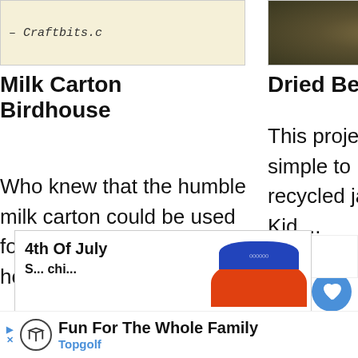[Figure (screenshot): Partial image with text '- Craftbits.c' on a light yellow-tan background]
[Figure (photo): Close-up photo of dried beans or seeds in dark tones]
Milk Carton Birdhouse
Who knew that the humble milk carton could be used for so many things besides ho....
Dried Bean Bottle
This project is quick and simple to make and uses recycled jars and bottles. Kid....
[Figure (screenshot): Circular thumbnail showing 'Nail Polish Seashells' with 'WHAT'S NEXT' arrow label]
[Figure (screenshot): 4th of July craft card with orange and blue/white decoration image]
Fun For The Whole Family Topgolf